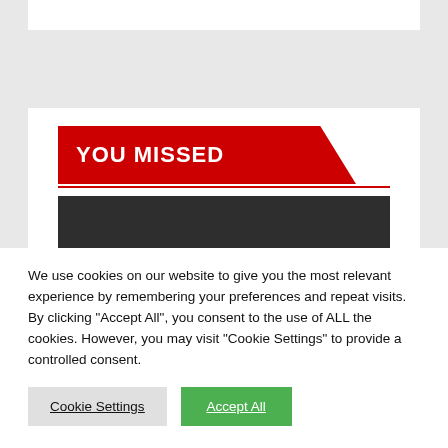[Figure (other): White horizontal bar at top of page against grey background]
[Figure (other): Red 'YOU MISSED' banner with angled right edge and a red horizontal line below it]
[Figure (photo): Dark grey/charcoal rectangular image placeholder]
We use cookies on our website to give you the most relevant experience by remembering your preferences and repeat visits. By clicking “Accept All”, you consent to the use of ALL the cookies. However, you may visit "Cookie Settings" to provide a controlled consent.
Cookie Settings
Accept All